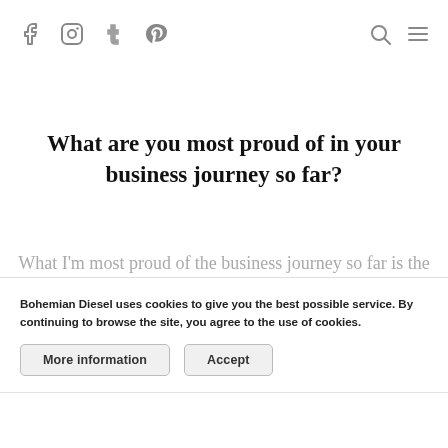f  [instagram]  t  p        [search]  [menu]
What are you most proud of in your business journey so far?
What I'm most proud of the business journey so far is the impact my little business has made on people. The kind of empowerment I have created with my collaborations and renowned publications have invited me to write for them so all of this is incredibly exciting.
Bohemian Diesel uses cookies to give you the best possible service. By continuing to browse the site, you agree to the use of cookies.   More information   Accept
them so all of this is incredibly exciting.